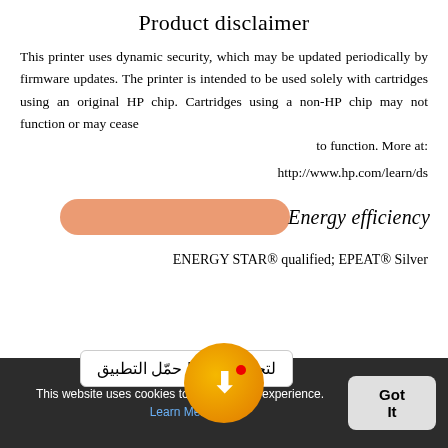Product disclaimer
This printer uses dynamic security, which may be updated periodically by firmware updates. The printer is intended to be used solely with cartridges using an original HP chip. Cartridges using a non-HP chip may not function or may cease to function. More at :
http://www.hp.com/learn/ds
Energy efficiency
ENERGY STAR® qualified; EPEAT® Silver
لتجربة أفضل! حمّل التطبيق
Operating temperature range
This website uses cookies to ... your experience. Learn Me...
Got It